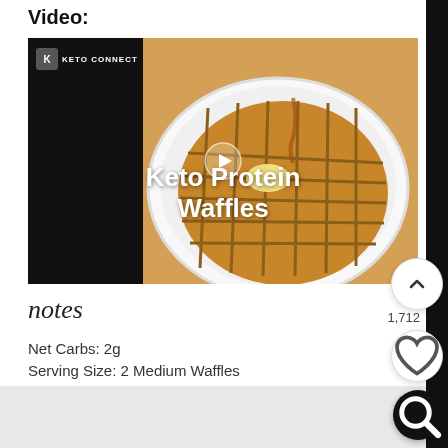Video:
[Figure (screenshot): Video thumbnail for Keto Protein Waffles from Keto Connect. Shows a golden waffle on a white plate with butter and syrup. Text overlay reads 'Keto Protein Waffles' with a play button. Keto Connect logo in top left corner.]
notes
Net Carbs: 2g
Serving Size: 2 Medium Waffles